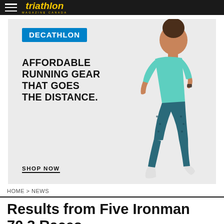triathlon MAGAZINE CANADA
[Figure (illustration): Decathlon advertisement banner with a woman running in teal athletic wear. Text reads: DECATHLON — AFFORDABLE RUNNING GEAR THAT GOES THE DISTANCE. SHOP NOW]
HOME > NEWS
Results from Five Ironman 70.3 Races